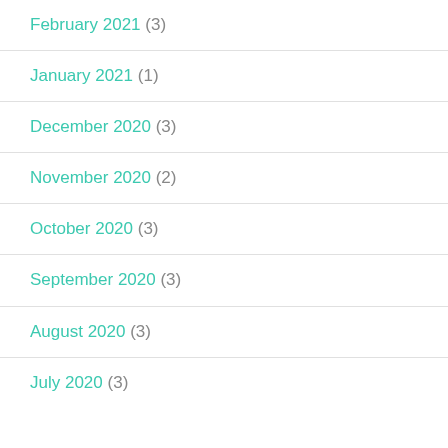February 2021 (3)
January 2021 (1)
December 2020 (3)
November 2020 (2)
October 2020 (3)
September 2020 (3)
August 2020 (3)
July 2020 (3)